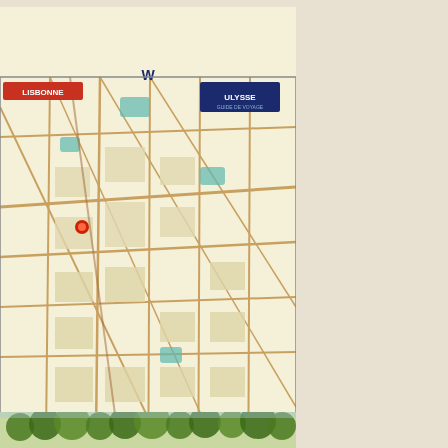[Figure (map): Lisbonne city road map cover image showing street layout of Lisbon, Portugal with blue river at bottom, labeled 'LISBONNE' in red and 'ULYSSE' logo in blue]
Lisbonne City Map
Simple and clear road map.
1022 miles away
Near Lisbonne, Portugal
Keywords: reference, roads, travel, street, port, shore
600 × 1077 • 250 KB • GIF
[Figure (map): Partial view of another map at the bottom of the page showing trees/vegetation]